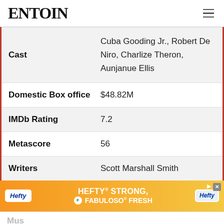ENTOIN
| Field | Value |
| --- | --- |
| Cast | Cuba Gooding Jr., Robert De Niro, Charlize Theron, Aunjanue Ellis |
| Domestic Box office | $48.82M |
| IMDb Rating | 7.2 |
| Metascore | 56 |
| Writers | Scott Marshall Smith |
[Figure (other): Advertisement banner: Hefty STRONG, FABULOSO FRESH with orange/yellow gradient background and Hefty and Fabuloso brand logos]
Mus